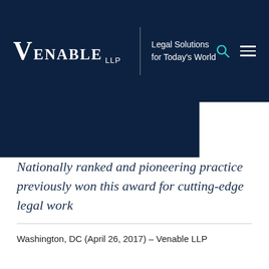VENABLE LLP | Legal Solutions for Today's World
Nationally ranked and pioneering practice previously won this award for cutting-edge legal work
Washington, DC (April 26, 2017) – Venable LLP